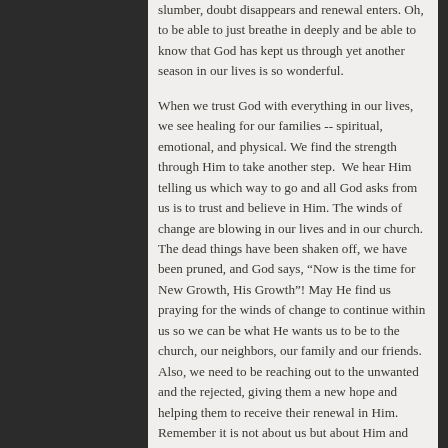slumber, doubt disappears and renewal enters. Oh, to be able to just breathe in deeply and be able to know that God has kept us through yet another season in our lives is so wonderful.
When we trust God with everything in our lives, we see healing for our families -- spiritual, emotional, and physical. We find the strength through Him to take another step.  We hear Him telling us which way to go and all God asks from us is to trust and believe in Him. The winds of change are blowing in our lives and in our church. The dead things have been shaken off, we have been pruned, and God says, “Now is the time for New Growth, His Growth”! May He find us praying for the winds of change to continue within us so we can be what He wants us to be to the church, our neighbors, our family and our friends.  Also, we need to be reaching out to the unwanted and the rejected, giving them a new hope and helping them to receive their renewal in Him. Remember it is not about us but about Him and His will for our lives. Be blessed!
Written by Melinda Smith, Minister of Moving in Spirit Life